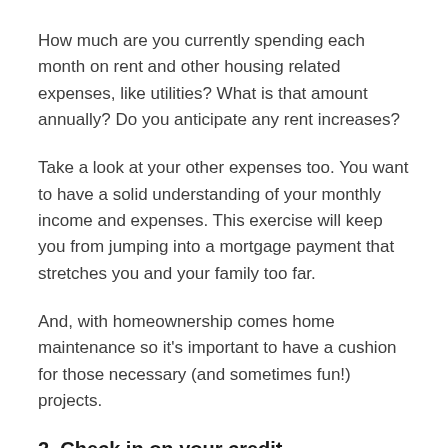How much are you currently spending each month on rent and other housing related expenses, like utilities? What is that amount annually? Do you anticipate any rent increases?
Take a look at your other expenses too. You want to have a solid understanding of your monthly income and expenses. This exercise will keep you from jumping into a mortgage payment that stretches you and your family too far.
And, with homeownership comes home maintenance so it's important to have a cushion for those necessary (and sometimes fun!) projects.
2. Check in on your credit
If you're not familiar with your credit history, or need a